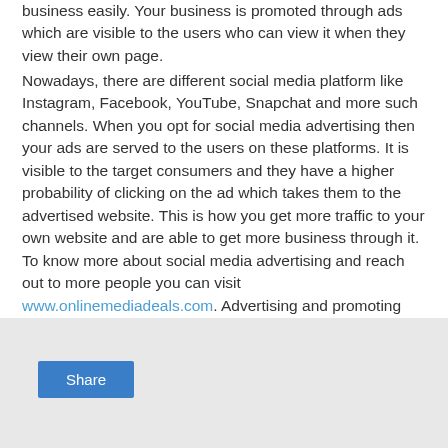business easily. Your business is promoted through ads which are visible to the users who can view it when they view their own page.
Nowadays, there are different social media platform like Instagram, Facebook, YouTube, Snapchat and more such channels. When you opt for social media advertising then your ads are served to the users on these platforms. It is visible to the target consumers and they have a higher probability of clicking on the ad which takes them to the advertised website. This is how you get more traffic to your own website and are able to get more business through it. To know more about social media advertising and reach out to more people you can visit www.onlinemediadeals.com. Advertising and promoting your business can improve your search engine ranking as well.
[Figure (other): Light grey footer area with a blue Share button]